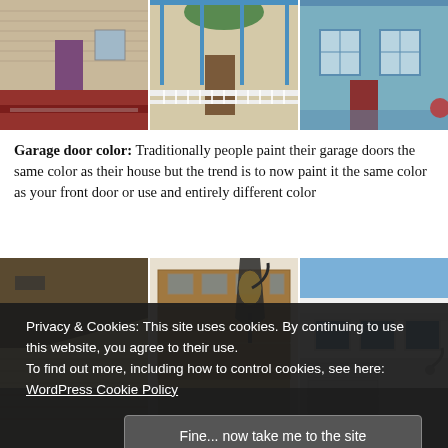[Figure (photo): Collage of three Victorian-style house fronts with colorful exteriors including porches and decorative trim]
Garage door color: Traditionally people paint their garage doors the same color as their house but the trend is to now paint it the same color as your front door or use and entirely different color
[Figure (photo): Collage of three photos showing garage doors and exterior house details including trim, lantern light, and windows]
Privacy & Cookies: This site uses cookies. By continuing to use this website, you agree to their use.
To find out more, including how to control cookies, see here: WordPress Cookie Policy
Fine... now take me to the site